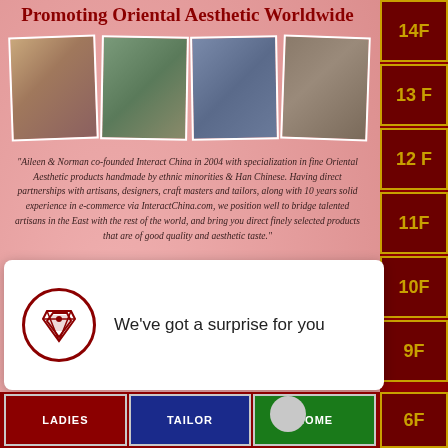Promoting Oriental Aesthetic Worldwide
[Figure (photo): Four photographs of people in outdoor/cultural settings arranged in a strip]
"Aileen & Norman co-founded Interact China in 2004 with specialization in fine Oriental Aesthetic products handmade by ethnic minorities & Han Chinese. Having direct partnerships with artisans, designers, craft masters and tailors, along with 10 years solid experience in e-commerce via InteractChina.com, we position well to bridge talented artisans in the East with the rest of the world, and bring you direct finely selected products that are of good quality and aesthetic taste."
[Figure (infographic): Green brushstroke button labeled 'Vision' with plus icon, and teal brushstroke button labeled 'Approach' with plus icon]
We've got a surprise for you
LADIES
TAILOR
HOME
14F
13 F
12 F
11F
10F
9F
6F